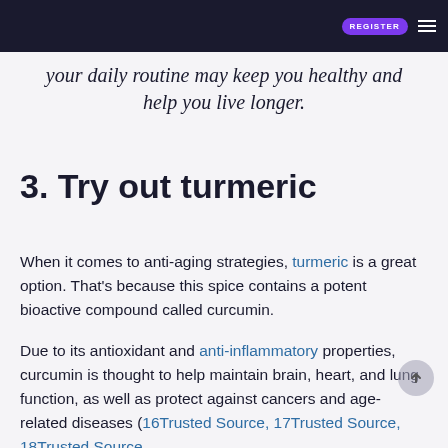REGISTER
your daily routine may keep you healthy and help you live longer.
3. Try out turmeric
When it comes to anti-aging strategies, turmeric is a great option. That's because this spice contains a potent bioactive compound called curcumin.
Due to its antioxidant and anti-inflammatory properties, curcumin is thought to help maintain brain, heart, and lung function, as well as protect against cancers and age-related diseases (16Trusted Source, 17Trusted Source, 18Trusted Source